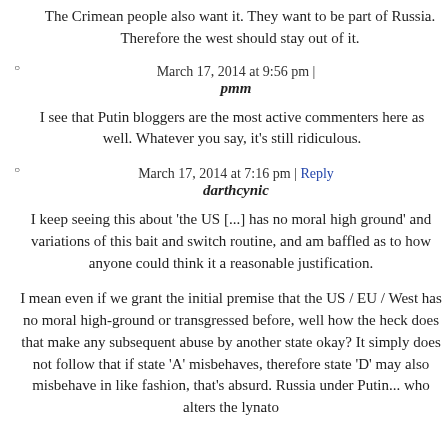The Crimean people also want it. They want to be part of Russia. Therefore the west should stay out of it.
March 17, 2014 at 9:56 pm |
pmm
I see that Putin bloggers are the most active commenters here as well. Whatever you say, it's still ridiculous.
March 17, 2014 at 7:16 pm | Reply
darthcynic
I keep seeing this about 'the US [...] has no moral high ground' and variations of this bait and switch routine, and am baffled as to how anyone could think it a reasonable justification.
I mean even if we grant the initial premise that the US / EU / West has no moral high-ground or transgressed before, well how the heck does that make any subsequent abuse by another state okay? It simply does not follow that if state 'A' misbehaves, therefore state 'D' may also misbehave in like fashion, that's absurd. Russia under Putin... who alters the lynato